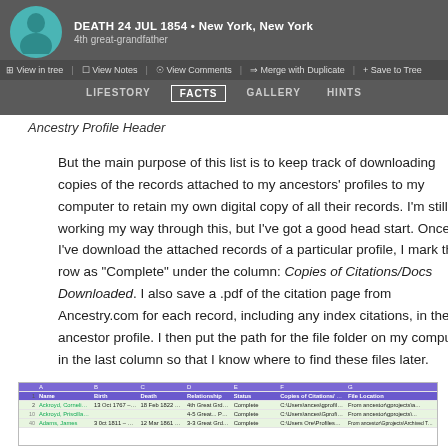[Figure (screenshot): Ancestry.com profile header showing DEATH 24 JUL 1854 New York, New York, 4th great-grandfather, with navigation buttons (View in tree, View Notes, View Comments, Merge with Duplicate, Save to Tree) and tabs (LIFESTORY, FACTS, GALLERY, HINTS)]
Ancestry Profile Header
But the main purpose of this list is to keep track of downloading copies of the records attached to my ancestors’ profiles to my computer to retain my own digital copy of all their records.  I’m still working my way through this, but I’ve got a good head start.  Once I’ve download the attached records of a particular profile, I mark the row as “Complete” under the column: Copies of Citations/Docs Downloaded.  I also save a .pdf of the citation page from Ancestry.com for each record, including any index citations, in the ancestor profile.  I then put the path for the file folder on my computer in the last column so that I know where to find these files later.
[Figure (screenshot): Partial spreadsheet showing ancestry tracking table with columns for Name, Birth, Death, Relationship, Copies of Citations/Docs Downloaded, File Location, with purple header rows and several data rows]